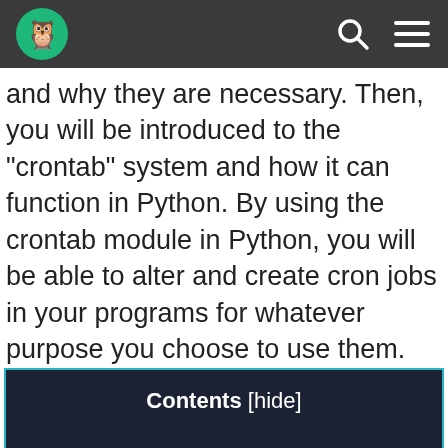[navigation bar with logo, search icon, and menu icon]
and why they are necessary. Then, you will be introduced to the "crontab" system and how it can function in Python. By using the crontab module in Python, you will be able to alter and create cron jobs in your programs for whatever purpose you choose to use them.
Contents [hide]